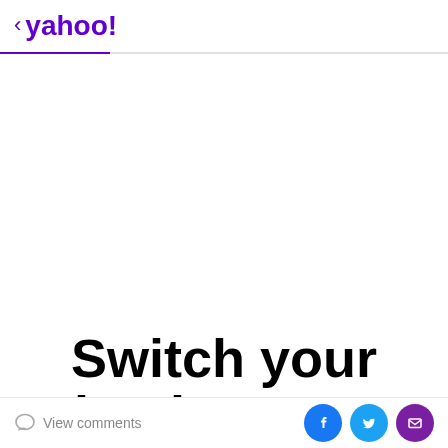< yahoo!
[Figure (other): Advertisement placeholder area (white/blank)]
Switch your business to
In honor of Lightyear, which marks the animation studio's
View comments | Facebook share | Twitter share | Email share